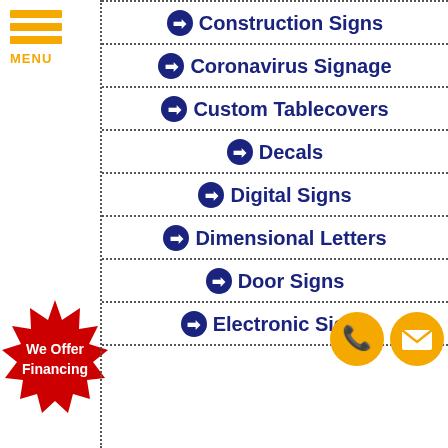[Figure (logo): Orange hamburger menu icon with three horizontal bars and MENU label in orange text]
Construction Signs
Coronavirus Signage
Custom Tablecovers
Decals
Digital Signs
Dimensional Letters
Door Signs
Electronic Signs
[Figure (illustration): Red starburst badge with white text 'We Offer Financing']
[Figure (illustration): Orange circle phone icon button]
[Figure (illustration): Orange circle email/envelope icon button]